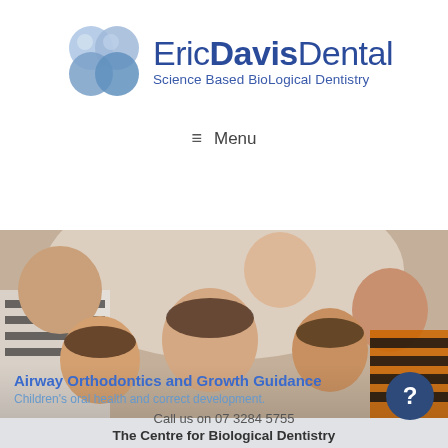[Figure (logo): Eric Davis Dental logo with four overlapping blue circle bubbles and text 'EricDavisDental / Science Based BioLogical Dentistry']
Menu
[Figure (photo): Group of smiling children looking down at camera in a circle; banner text reads 'Airway Orthodontics and Growth Guidance' and 'Children's oral health and correct development.']
Call us on 07 3284 5755
The Centre for Biological Dentistry
... thinking beyond the teeth